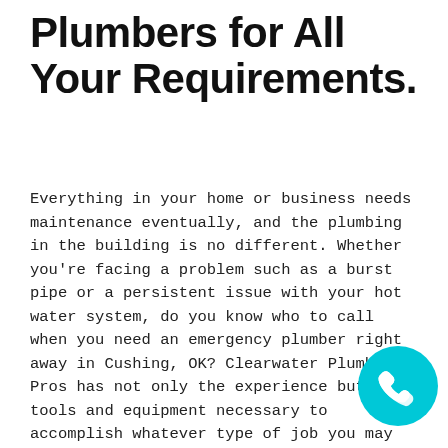Plumbers for All Your Requirements.
Everything in your home or business needs maintenance eventually, and the plumbing in the building is no different. Whether you're facing a problem such as a burst pipe or a persistent issue with your hot water system, do you know who to call when you need an emergency plumber right away in Cushing, OK? Clearwater Plumbing Pros has not only the experience but the tools and equipment necessary to accomplish whatever type of job you may have for our crews. From checking gas fittings and making repairs to all the typical services you've come to expect from a plumber, we are fast to arrive, honest about what needs doing, and dependable in our quality and execution. Our plumbers also insured, licensed, and always equipped with the parts necessary for practically any plumbing problem, the team looks forward to helping restore your home or